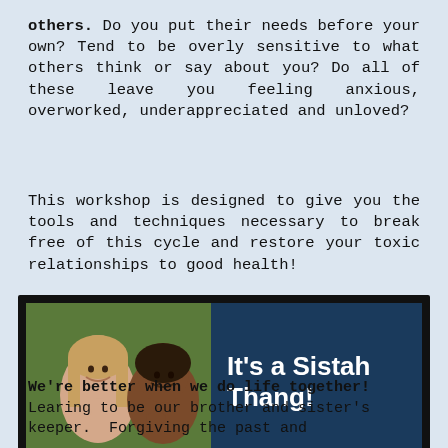others. Do you put their needs before your own? Tend to be overly sensitive to what others think or say about you? Do all of these leave you feeling anxious, overworked, underappreciated and unloved?
This workshop is designed to give you the tools and techniques necessary to break free of this cycle and restore your toxic relationships to good health!
[Figure (photo): Photo of two young women lying down smiling, alongside a dark navy blue box with bold white text reading 'It's a Sistah Thang!']
We're better when we do life together! Learing to be our brother and sister's keeper. Forgiving the past and embracing the future. Doing life together.